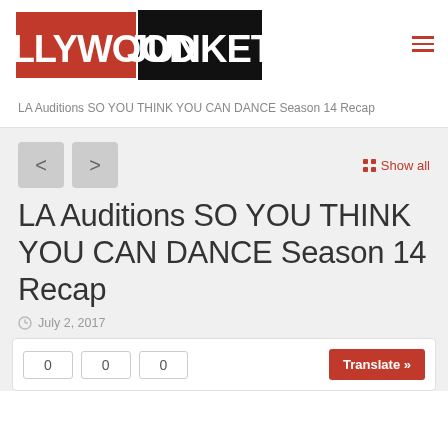[Figure (logo): Hollywood Junket logo — red and black rectangular logo with bold white text]
LA Auditions SO YOU THINK YOU CAN DANCE Season 14 Recap
LA Auditions SO YOU THINK YOU CAN DANCE Season 14 Recap
July 2, 2017
0  0  0  Translate »